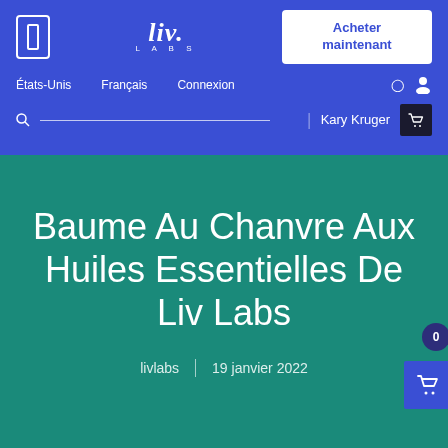liv. LABS
Acheter maintenant
États-Unis   Français   Connexion   Kary Kruger
Baume Au Chanvre Aux Huiles Essentielles De Liv Labs
livlabs  |  19 janvier 2022